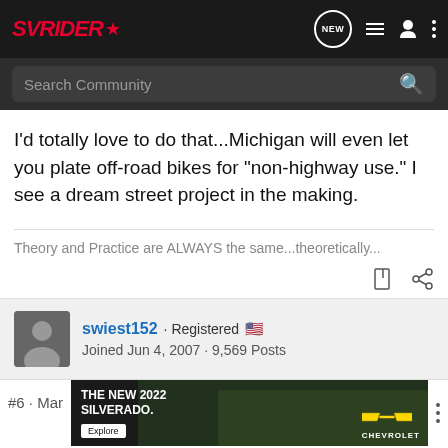SVRIDER
I'd totally love to do that...Michigan will even let you plate off-road bikes for "non-highway use." I see a dream street project in the making.
Theory and Practice are ALWAYS the same...theoretically...
swiest152 · Registered · Joined Jun 4, 2007 · 9,569 Posts
[Figure (screenshot): Chevrolet 2022 Silverado advertisement banner with dark background, truck image, and Explore button]